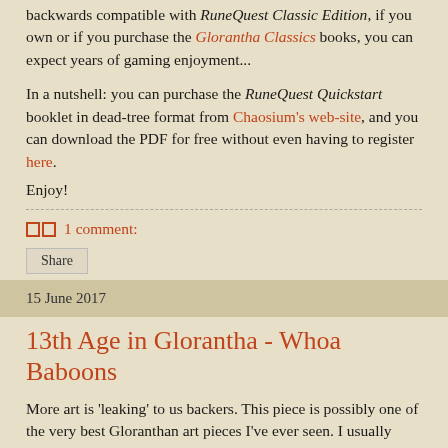backwards compatible with RuneQuest Classic Edition, if you own or if you purchase the Glorantha Classics books, you can expect years of gaming enjoyment...
In a nutshell: you can purchase the RuneQuest Quickstart booklet in dead-tree format from Chaosium's web-site, and you can download the PDF for free without even having to register here.
Enjoy!
1 comment:
Share
15 June 2017
13th Age in Glorantha - Whoa Baboons
More art is 'leaking' to us backers. This piece is possibly one of the very best Gloranthan art pieces I've ever seen. I usually prefer black & white illustrations but this one just